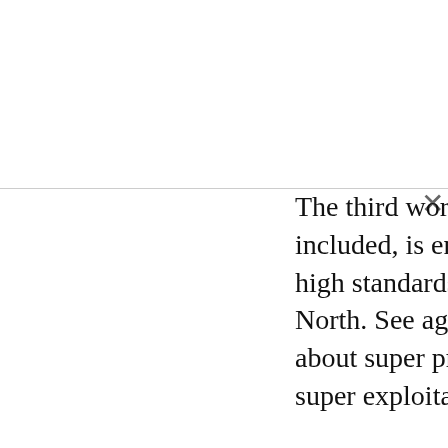The third world, China included, is enslaved to give high standards of life in the North. See again what I said about super profits and super exploitation.

Many simply see the “greatness” of some successful